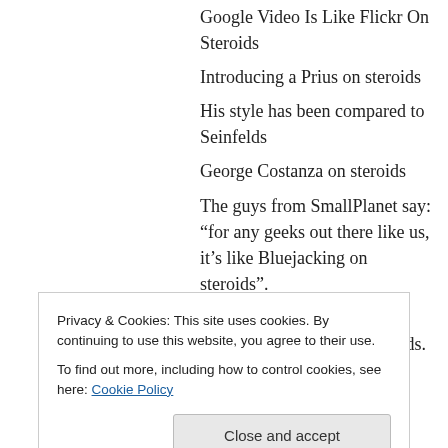Google Video Is Like Flickr On Steroids
Introducing a Prius on steroids
His style has been compared to Seinfelds
George Costanza on steroids
The guys from SmallPlanet say: “for any geeks out there like us, it’s like Bluejacking on steroids”.
…is sort of like the video games of my youth on steroids. …
WOW, it’s like a fan film on steroids!
This would be like the Super Bowl on steroids for
Privacy & Cookies: This site uses cookies. By continuing to use this website, you agree to their use.
To find out more, including how to control cookies, see here: Cookie Policy
↳ Reply